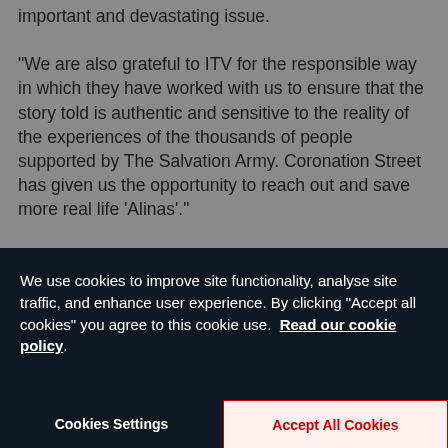important and devastating issue.

“We are also grateful to ITV for the responsible way in which they have worked with us to ensure that the story told is authentic and sensitive to the reality of the experiences of the thousands of people supported by The Salvation Army. Coronation Street has given us the opportunity to reach out and save more real life ‘Alinas’.”
We use cookies to improve site functionality, analyse site traffic, and enhance user experience. By clicking "Accept all cookies" you agree to this cookie use. Read our cookie policy.
Cookies Settings
Accept All Cookies